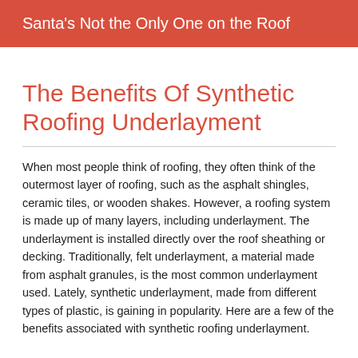Santa's Not the Only One on the Roof
The Benefits Of Synthetic Roofing Underlayment
When most people think of roofing, they often think of the outermost layer of roofing, such as the asphalt shingles, ceramic tiles, or wooden shakes. However, a roofing system is made up of many layers, including underlayment. The underlayment is installed directly over the roof sheathing or decking. Traditionally, felt underlayment, a material made from asphalt granules, is the most common underlayment used. Lately, synthetic underlayment, made from different types of plastic, is gaining in popularity. Here are a few of the benefits associated with synthetic roofing underlayment.